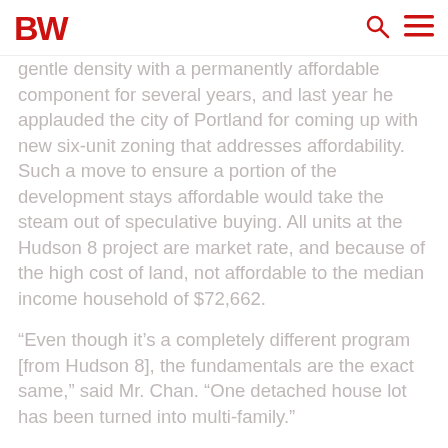BW
gentle density with a permanently affordable component for several years, and last year he applauded the city of Portland for coming up with new six-unit zoning that addresses affordability. Such a move to ensure a portion of the development stays affordable would take the steam out of speculative buying. All units at the Hudson 8 project are market rate, and because of the high cost of land, not affordable to the median income household of $72,662.
“Even though it’s a completely different program [from Hudson 8], the fundamentals are the exact same,” said Mr. Chan. “One detached house lot has been turned into multi-family.”
Mr. Chan … … …